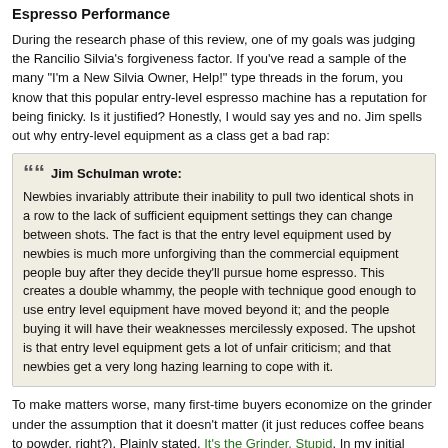Espresso Performance
During the research phase of this review, one of my goals was judging the Rancilio Silvia's forgiveness factor. If you've read a sample of the many "I'm a New Silvia Owner, Help!" type threads in the forum, you know that this popular entry-level espresso machine has a reputation for being finicky. Is it justified? Honestly, I would say yes and no. Jim spells out why entry-level equipment as a class get a bad rap:
Jim Schulman wrote: Newbies invariably attribute their inability to pull two identical shots in a row to the lack of sufficient equipment settings they can change between shots. The fact is that the entry level equipment used by newbies is much more unforgiving than the commercial equipment people buy after they decide they'll pursue home espresso. This creates a double whammy, the people with technique good enough to use entry level equipment have moved beyond it; and the people buying it will have their weaknesses mercilessly exposed. The upshot is that entry level equipment gets a lot of unfair criticism; and that newbies get a very long hazing learning to cope with it.
To make matters worse, many first-time buyers economize on the grinder under the assumption that it doesn't matter (it just reduces coffee beans to powder, right?). Plainly stated, It's the Grinder, Stupid. In my initial testing, I used a commercial conical grinder, the Compak K10 Pro, so the grinder wasn't the weakest link. While Silvia did exhibit minor fussiness, the majority of extractions were even from start to finish. The taste inconsistencies I noted from shot-to-shot occurred when I skipped the temperature surfing step because of video production